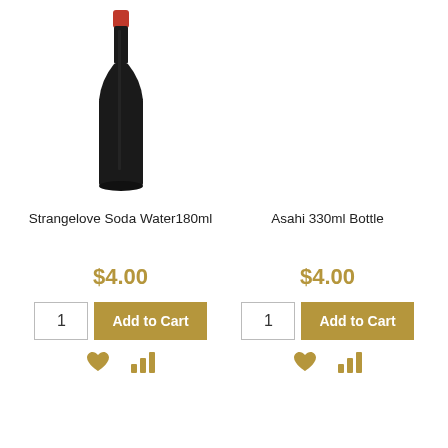[Figure (photo): A dark glass wine/beverage bottle with a red cap, shown on a white background.]
Strangelove Soda Water180ml
Asahi 330ml Bottle
$4.00
$4.00
1
Add to Cart
1
Add to Cart